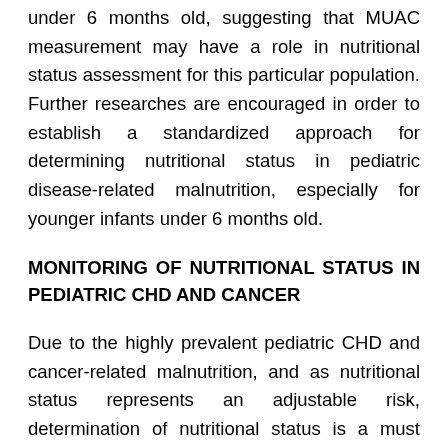under 6 months old, suggesting that MUAC measurement may have a role in nutritional status assessment for this particular population. Further researches are encouraged in order to establish a standardized approach for determining nutritional status in pediatric disease-related malnutrition, especially for younger infants under 6 months old.
MONITORING OF NUTRITIONAL STATUS IN PEDIATRIC CHD AND CANCER
Due to the highly prevalent pediatric CHD and cancer-related malnutrition, and as nutritional status represents an adjustable risk, determination of nutritional status is a must since the patient was